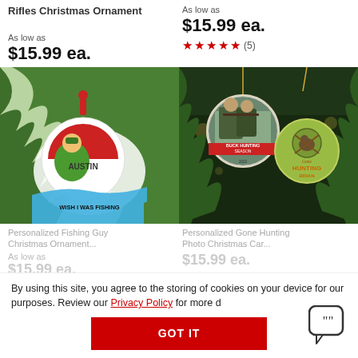Rifles Christmas Ornament
As low as
$15.99 ea.
As low as
$15.99 ea.
★★★★★ (5)
[Figure (photo): Personalized Fishing Guy Christmas Ornament showing a cartoon fisher named AUSTIN in a red fishing bobber ornament with text 'WISH I WAS FISHING' on blue water, hanging from green Christmas tree branches]
[Figure (photo): Personalized Gone Hunting Photo Christmas ornament showing two hunters with rifles against a snowy background, alongside a round green hunting-themed ornament reading 'Gone Hunting Brian', hanging from Christmas tree]
Personalized Fishing Guy Christmas Ornament
Personalized Gone Hunting Photo Christmas Car...
As low as
$15.99 ea.
$15.99 ea.
By using this site, you agree to the storing of cookies on your device for our purposes. Review our Privacy Policy for more d
GOT IT